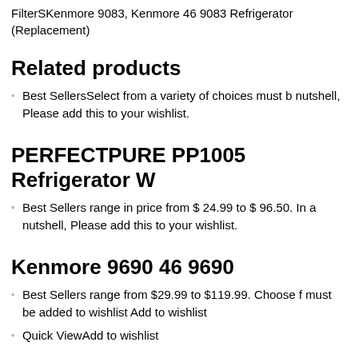FilterSKenmore 9083, Kenmore 46 9083 Refrigerator (Replacement)
Related products
Best SellersSelect from a variety of choices must be in a nutshell, Please add this to your wishlist.
PERFECTPURE PP1005 Refrigerator W
Best Sellers range in price from $ 24.99 to $ 96.50. In a nutshell, Please add this to your wishlist.
Kenmore 9690 46 9690
Best Sellers range from $29.99 to $119.99. Choose f must be added to wishlist Add to wishlist
Quick ViewAdd to wishlist